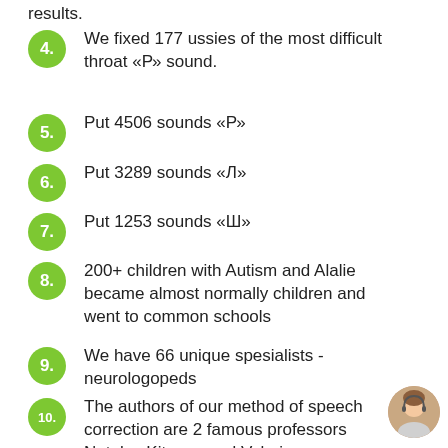results.
4. We fixed 177 ussies of the most difficult throat «Р» sound.
5. Put 4506 sounds «Р»
6. Put 3289 sounds «Л»
7. Put 1253 sounds «Ш»
8. 200+ children with Autism and Alalie became almost normally children and went to common schools
9. We have 66 unique spesialists - neurologopeds
10. The authors of our method of speech correction are 2 famous professors Natalya Kitaeva and Valeria Goncharova. This method uses for 3 000 children every month.
[Figure (photo): Avatar of a woman with headset, bottom right corner]